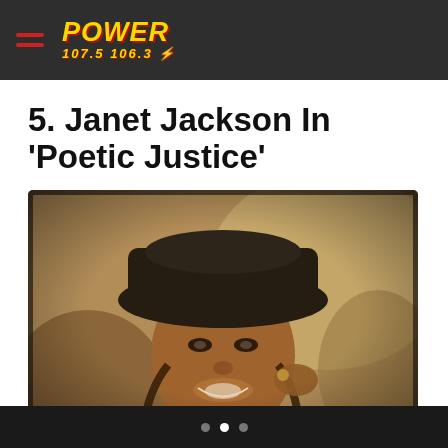Power 107.5 106.3
5. Janet Jackson In 'Poetic Justice'
[Figure (photo): Black and white/warm-toned photo of a woman wearing a wide-brimmed black hat, smiling, with braided hair, touching her hair with her hand. From the movie Poetic Justice.]